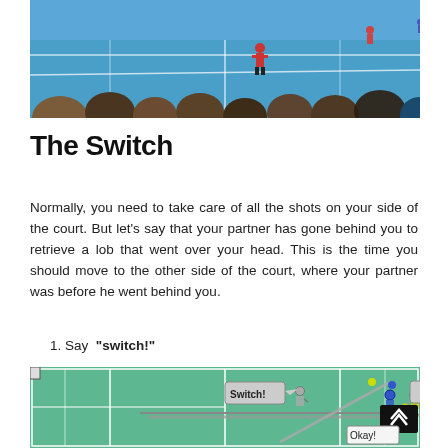[Figure (photo): Overhead view of people watching a badminton or squash court with a player in red on a blue court surface]
The Switch
Normally, you need to take care of all the shots on your side of the court. But let’s say that your partner has gone behind you to retrieve a lob that went over your head. This is the time you should move to the other side of the court, where your partner was before he went behind you.
1. Say “switch!”
[Figure (illustration): Diagram of a badminton/squash court from above showing two players switching sides, with speech bubbles saying 'Switch!' and 'Okay!' and arrows indicating player movement]